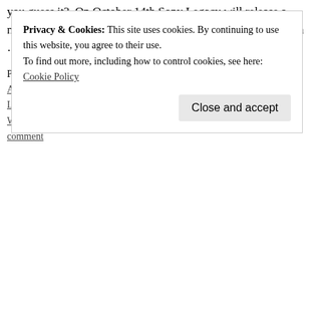you guess it?  On October 14th Sony Legacy will release a new contents. The Heartlinker will be keeping you updated on … Co
Posted in Album, Blues, CD, Concert, Folk, Live, Music, Rock | Tagged Ann W… Letterman, Foo Fighters, Heart, Led Zeppelin, Letterman, Live, Nancy Wilson… comment
Privacy & Cookies: This site uses cookies. By continuing to use this website, you agree to their use.
To find out more, including how to control cookies, see here: Cookie Policy